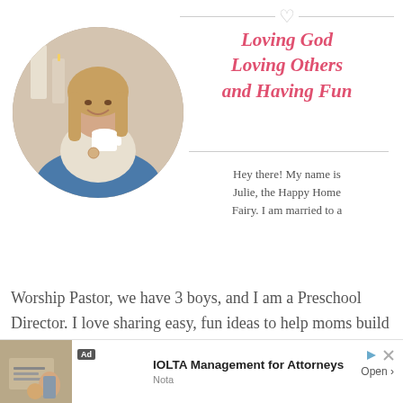[Figure (photo): Circular portrait photo of a smiling woman with long blonde hair holding a white cup, sitting in a relaxed indoor setting with candles in background]
Loving God Loving Others and Having Fun
Hey there! My name is Julie, the Happy Home Fairy. I am married to a Worship Pastor, we have 3 boys, and I am a Preschool Director. I love sharing easy, fun ideas to help moms build a happy home! Here you will find simple crafts, FREE Printables, yummy recipes, stories about my journey to trust Jesus with my family, and encouragement for your mama's heart. You can read m...
[Figure (other): Advertisement banner for IOLTA Management for Attorneys by Nota, showing a person at a desk with legal documents]